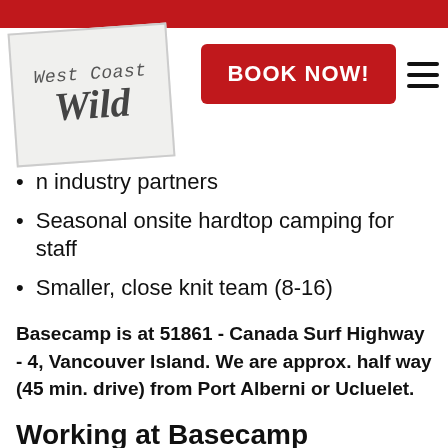[Figure (logo): West Coast Wild logo — handwritten style text 'WestCoast Wild' on a tilted light grey card]
[Figure (other): Red 'BOOK NOW!' button and hamburger menu icon in the header]
Discounts with industry partners
Seasonal onsite hardtop camping for staff
Smaller, close knit team (8-16)
Basecamp is at 51861 - Canada Surf Highway - 4, Vancouver Island. We are approx. half way (45 min. drive) from Port Alberni or Ucluelet.
Working at Basecamp
Our zip crew provides a safe, stunning adventure through an old growth rainforest canyon. We wake up in or commute to a truly amazing place to be... let alone get paid to share it and some amazing times with awesome people from all over